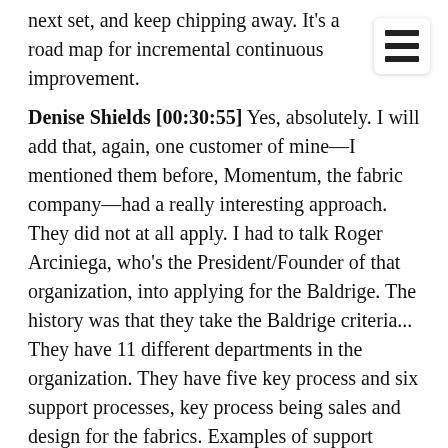next set, and keep chipping away. It's a road map for incremental continuous improvement.
Denise Shields [00:30:55] Yes, absolutely. I will add that, again, one customer of mine—I mentioned them before, Momentum, the fabric company—had a really interesting approach. They did not at all apply. I had to talk Roger Arciniega, who's the President/Founder of that organization, into applying for the Baldrige. The history was that they take the Baldrige criteria... They have 11 different departments in the organization. They have five key process and six support processes, key process being sales and design for the fabrics. Examples of support process may be HR, marketing, things like that. They actually developed a little 10-page application, and they had each of their 11 departments apply internally every